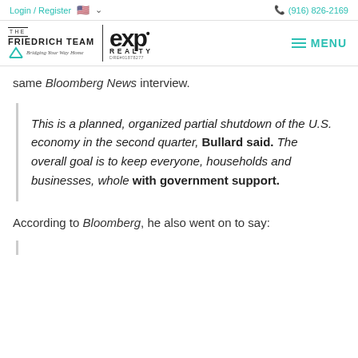Login / Register | (916) 826-2169
[Figure (logo): The Friedrich Team | eXp Realty logo with tagline 'Bridging Your Way Home' and DRE#01878277. MENU hamburger icon on right.]
same Bloomberg News interview.
This is a planned, organized partial shutdown of the U.S. economy in the second quarter, Bullard said. The overall goal is to keep everyone, households and businesses, whole with government support.
According to Bloomberg, he also went on to say: